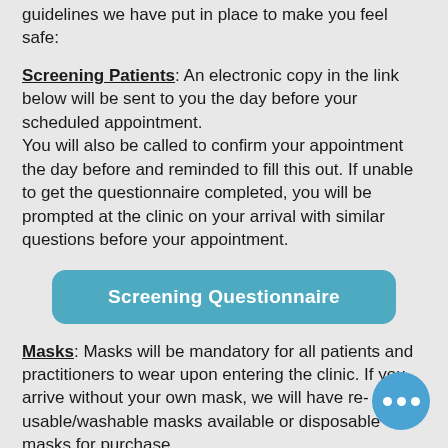guidelines we have put in place to make you feel safe:
Screening Patients: An electronic copy in the link below will be sent to you the day before your scheduled appointment.
You will also be called to confirm your appointment the day before and reminded to fill this out. If unable to get the questionnaire completed, you will be prompted at the clinic on your arrival with similar questions before your appointment.
[Figure (other): Blue rounded button labeled 'Screening Questionnaire']
Masks: Masks will be mandatory for all patients and practitioners to wear upon entering the clinic. If you arrive without your own mask, we will have re-usable/washable masks available or disposable masks for purchase.